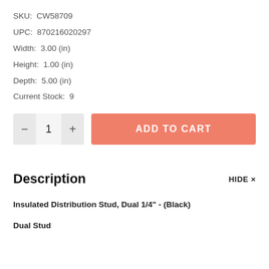SKU:  CW58709
UPC:  870216020297
Width:  3.00 (in)
Height:  1.00 (in)
Depth:  5.00 (in)
Current Stock:  9
[Figure (other): Quantity selector with minus button, value 1, plus button; and Add to Cart button in salmon/coral color]
Description
HIDE ×
Insulated Distribution Stud, Dual 1/4" - (Black)
Dual Stud